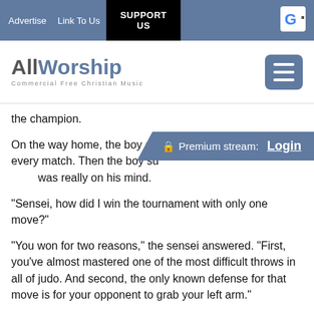Advertise  Link To Us  SUPPORT US
[Figure (logo): AllWorship logo with tagline 'Commercial Free Christian Music' and hamburger menu button]
the champion.
On the way home, the boy and sensei talked about every move and every match. Then the boy summoned the courage to ask what was really on his mind.
“Sensei, how did I win the tournament with only one move?”
“You won for two reasons,” the sensei answered. “First, you’ve almost mastered one of the most difficult throws in all of judo. And second, the only known defense for that move is for your opponent to grab your left arm.”
The boy’s biggest weakness had become his biggest strength.
Sometimes we feel that we have certain weaknesses and we blame God, the circumstances and ourself for it but we never know that our weakness can become our strength one day.